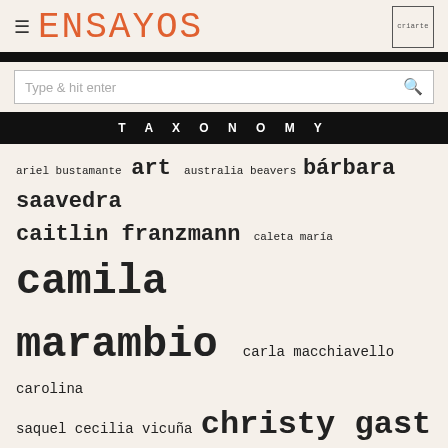ENSAYOS
Type & hit enter
TAXONOMY
ariel bustamante art australia beavers bárbara saavedra caitlin franzmann caleta maría camila marambio carla macchiavello carolina saquel cecilia vicuña christy gast coastal curriculum dear enemy denise milstein distancia ensayo #1 ensayo #2 ensayo #4